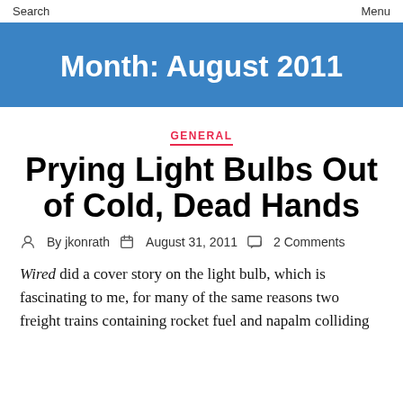Search   Menu
Month: August 2011
GENERAL
Prying Light Bulbs Out of Cold, Dead Hands
By jkonrath   August 31, 2011   2 Comments
Wired did a cover story on the light bulb, which is fascinating to me, for many of the same reasons two freight trains containing rocket fuel and napalm colliding